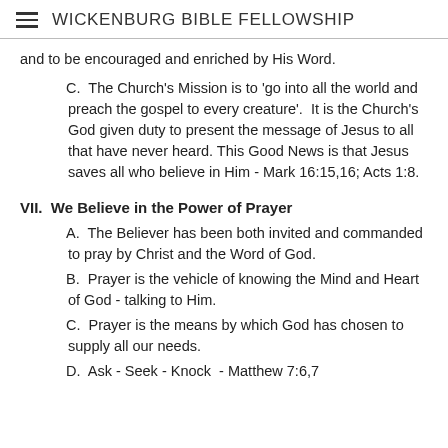WICKENBURG BIBLE FELLOWSHIP
and to be encouraged and enriched by His Word.
C.  The Church's Mission is to 'go into all the world and preach the gospel to every creature'.  It is the Church's God given duty to present the message of Jesus to all that have never heard. This Good News is that Jesus saves all who believe in Him - Mark 16:15,16; Acts 1:8.
VII.  We Believe in the Power of Prayer
A.  The Believer has been both invited and commanded to pray by Christ and the Word of God.
B.  Prayer is the vehicle of knowing the Mind and Heart of God - talking to Him.
C.  Prayer is the means by which God has chosen to supply all our needs.
D.  Ask - Seek - Knock  - Matthew 7:6,7